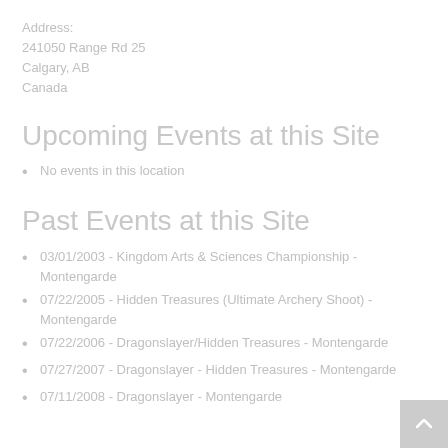Address:
241050 Range Rd 25
Calgary, AB
Canada
Upcoming Events at this Site
No events in this location
Past Events at this Site
03/01/2003 - Kingdom Arts & Sciences Championship - Montengarde
07/22/2005 - Hidden Treasures (Ultimate Archery Shoot) - Montengarde
07/22/2006 - Dragonslayer/Hidden Treasures - Montengarde
07/27/2007 - Dragonslayer - Hidden Treasures - Montengarde
07/11/2008 - Dragonslayer - Montengarde